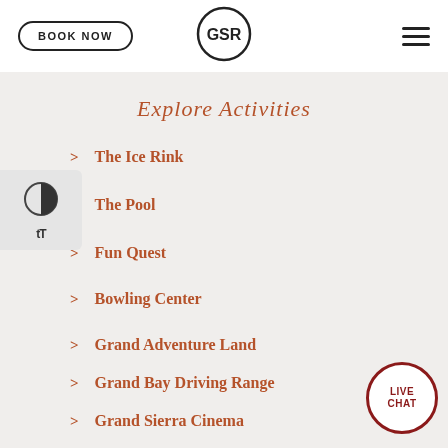BOOK NOW | GSR | (hamburger menu)
Explore Activities
The Ice Rink
The Pool
Fun Quest
Bowling Center
Grand Adventure Land
Grand Bay Driving Range
Grand Sierra Cinema